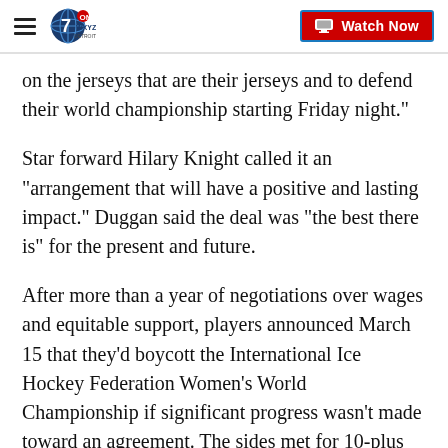WXYZ Detroit | Watch Now
on the jerseys that are their jerseys and to defend their world championship starting Friday night."
Star forward Hilary Knight called it an "arrangement that will have a positive and lasting impact." Duggan said the deal was "the best there is" for the present and future.
After more than a year of negotiations over wages and equitable support, players announced March 15 that they'd boycott the International Ice Hockey Federation Women's World Championship if significant progress wasn't made toward an agreement. The sides met for 10-plus hours in person last week and continued